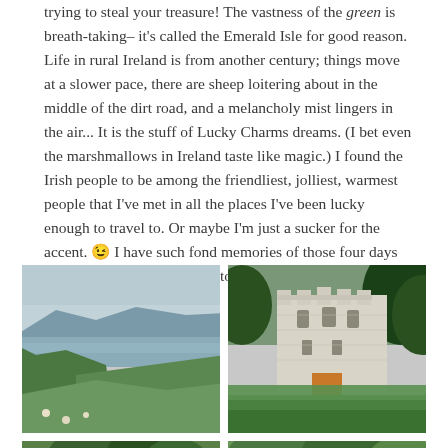trying to steal your treasure! The vastness of the green is breath-taking– it's called the Emerald Isle for good reason. Life in rural Ireland is from another century; things move at a slower pace, there are sheep loitering about in the middle of the dirt road, and a melancholy mist lingers in the air... It is the stuff of Lucky Charms dreams. (I bet even the marshmallows in Ireland taste like magic.) I found the Irish people to be among the friendliest, jolliest, warmest people that I've met in all the places I've been lucky enough to travel to. Or maybe I'm just a sucker for the accent. 😉 I have such fond memories of those four days in Ireland, and I really hope to get back someday soon. *sigh*
[Figure (photo): Two side-by-side photos of Ireland: left shows green rolling hills with a bay/lake and overcast sky; right shows a medieval stone castle (Ross Castle) with green lawn and trees]
[Figure (photo): Two partially visible photos at the bottom: left shows green Irish landscape with trees, right shows dense green foliage]